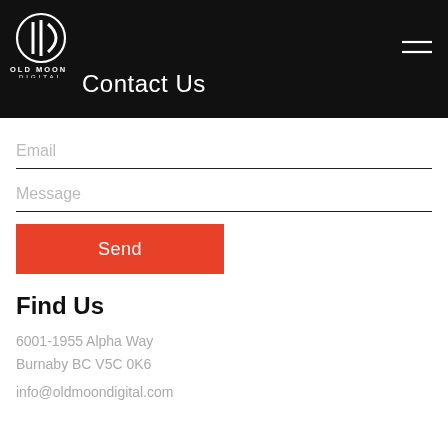[Figure (logo): Old Moon Digital logo — circular icon with vertical bars and a D shape, white on black, with text OLD MOON DIGITAL below]
Contact Us
Email
Message
Send
Find Us
6001-1955 Alpha Way
Burnaby BC V5C 0K6
info@oldmoondigital.com